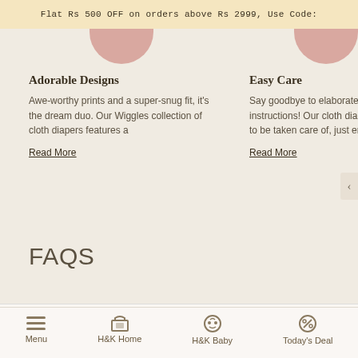Flat Rs 500 OFF on orders above Rs 2999, Use Code:
Adorable Designs
Awe-worthy prints and a super-snug fit, it's the dream duo. Our Wiggles collection of cloth diapers features a
Read More
Easy Care
Say goodbye to elaborate wash cycle instructions! Our cloth diapers are easy to be taken care of, just empty the
Read More
FAQS
Rs. 999.00
Rs. 599.00
BigLuv White
ADD TO CART
Menu | H&K Home | H&K Baby | Today's Deal